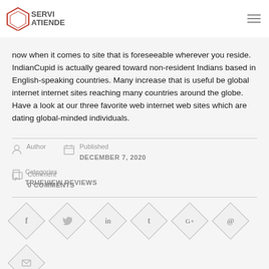SERVIATIENDE
now when it comes to site that is foreseeable wherever you reside. IndianCupid is actually geared toward non-resident Indians based in English-speaking countries. Many increase that is useful be global internet internet sites reaching many countries around the globe. Have a look at our three favorite web internet web sites which are dating global-minded individuals.
Author | Published DECEMBER 7, 2020 | Categories TRUEVIEW REVIEWS
Comment 0 COMMENTS
[Figure (infographic): Row of social sharing diamond-shaped icon buttons: Facebook (f), Twitter (bird), LinkedIn (in), Tumblr (t), Google+ (G+), Pinterest (p), and Email (envelope)]